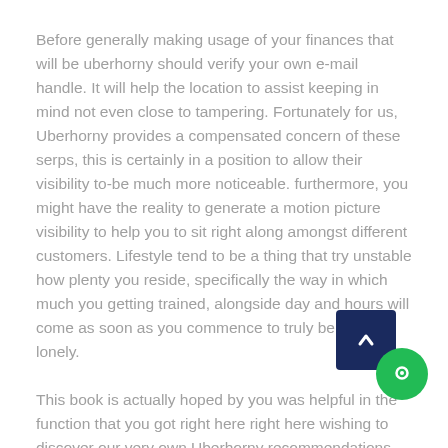Before generally making usage of your finances that will be uberhorny should verify your own e-mail handle. It will help the location to assist keeping in mind not even close to tampering. Fortunately for us, Uberhorny provides a compensated concern of these serps, this is certainly in a position to allow their visibility to-be much more noticeable. furthermore, you might have the reality to generate a motion picture visibility to help you to sit right along amongst different customers. Lifestyle tend to be a thing that try unstable how plenty you reside, specifically the way in which much you getting trained, alongside day and hours will come as soon as you commence to truly believe lonely.
This book is actually hoped by you was helpful in the function that you got right here right here wishing to discover our very own Uberhorny recommendations. We understand you are thinking about hookup and everyday intercourse niche sites, which suggests this site might be an excellent suit